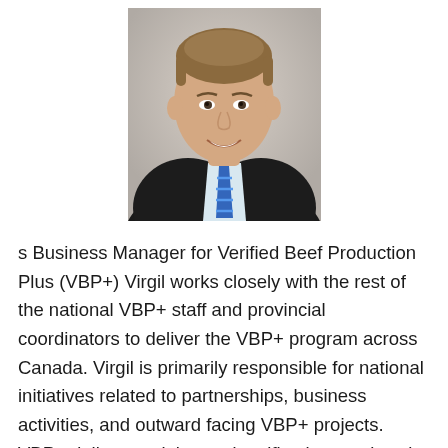[Figure (photo): Professional headshot of a young man in a dark suit and blue striped tie, smiling, light gray background]
s Business Manager for Verified Beef Production Plus (VBP+) Virgil works closely with the rest of the national VBP+ staff and provincial coordinators to deliver the VBP+ program across Canada. Virgil is primarily responsible for national initiatives related to partnerships, business activities, and outward facing VBP+ projects. VBP+ delivers training and verification services in an effort to demonstrate responsible practices at the farm and feedlot level on Canadian beef operations. Virgil is a lawyer and